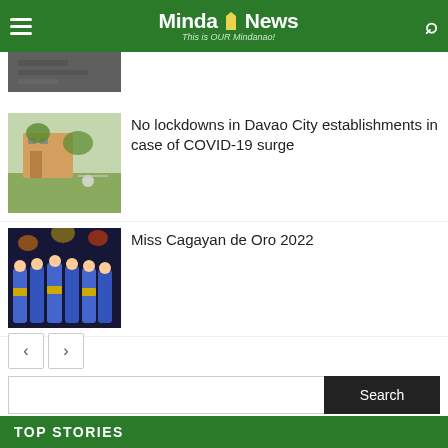MindaNews — This is OUR Mindanao!
[Figure (photo): Partially visible thumbnail photo at top, cropped]
No lockdowns in Davao City establishments in case of COVID-19 surge
[Figure (photo): Photo of a building with trees and outdoor umbrellas, likely a Davao City establishment]
Miss Cagayan de Oro 2022
[Figure (photo): Photo of women in blue and yellow gowns, beauty pageant contestants]
Search
TOP STORIES